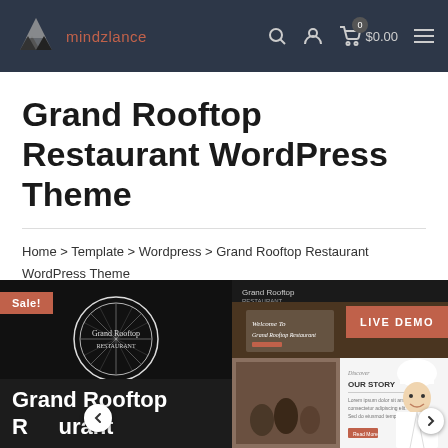mindzlance — header navigation with logo, search, account, cart ($0.00), and menu
Grand Rooftop Restaurant WordPress Theme
Home > Template > Wordpress > Grand Rooftop Restaurant WordPress Theme
[Figure (screenshot): Product thumbnail showing Grand Rooftop logo on dark background with Sale! badge and text 'Grand Rooftop Restaurant' below]
[Figure (screenshot): Live demo preview of Grand Rooftop Restaurant WordPress theme showing restaurant interior, welcome text, and chef image, with LIVE DEMO button]